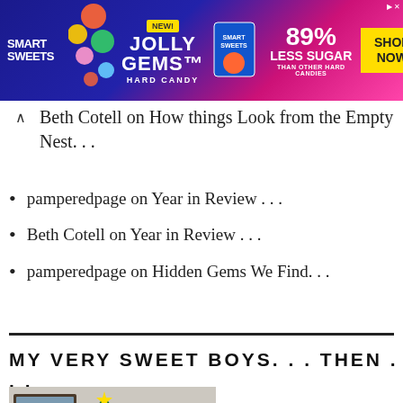[Figure (photo): Smart Sweets advertisement banner featuring Jolly Gems Hard Candy with colorful candy graphics. Blue and pink background. '89% Less Sugar than other hard candies'. SHOP NOW button. NEW! badge visible.]
Beth Cotell on How things Look from the Empty Nest. . .
pamperedpage on Year in Review . . .
Beth Cotell on Year in Review . . .
pamperedpage on Hidden Gems We Find. . .
MY VERY SWEET BOYS. . . THEN . . .
[Figure (photo): A young boy standing in front of a decorated Christmas tree indoors. The tree has ornaments and a star topper. Photo appears to be a family home setting.]